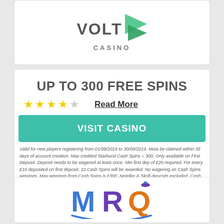[Figure (logo): Volt Casino logo — bold text VOLT with CASINO below and a green arrow/chevron graphic to the right]
UP TO 300 FREE SPINS
★★★★☆  Read More
VISIT CASINO
Valid for new players registering from 01/08/2019 to 30/09/2019. Must be claimed within 35 days of account creation. Max credited Starburst Cash Spins = 300. Only available on First Deposit. Deposit needs to be wagered at least once. Min first dep of £20 required. For every £10 deposited on first deposit, 10 Cash Spins will be awarded. No wagering on Cash Spins winnings. Max winnings from Cash Spins is £300. Neteller & Skrill deposits excluded. Cash Spins must be used within 7 days of being granted. Listed gameplay is excluded on first deposit when opting in for casino welcome offer. | T&C's Apply | BeGambleAware.org.
[Figure (logo): MRQ logo — colorful stylized text in blue, purple and orange with a hat icon above the Q]
10 NO DEPOSIT FREE SPINS